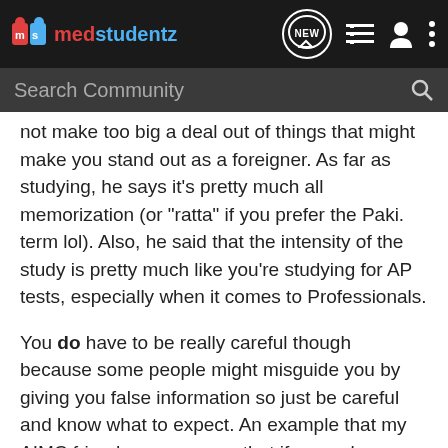[Figure (screenshot): medstudentz.com navigation bar with logo, search bar, and icons for NEW, list, user, and menu]
not make too big a deal out of things that might make you stand out as a foreigner. As far as studying, he says it's pretty much all memorization (or "ratta" if you prefer the Paki. term lol). Also, he said that the intensity of the study is pretty much like you're studying for AP tests, especially when it comes to Professionals.
You do have to be really careful though because some people might misguide you by giving you false information so just be careful and know what to expect. An example that my AIMC friend gave me was that if you ask a random classmate the day of a test he might give you the wrong date. Just be careful about stuff like that you know?
[Figure (screenshot): Advertisement banner showing WWW.AU-AV.COM on a dark starfield background]
Sorry I d  want I can tell  AIM